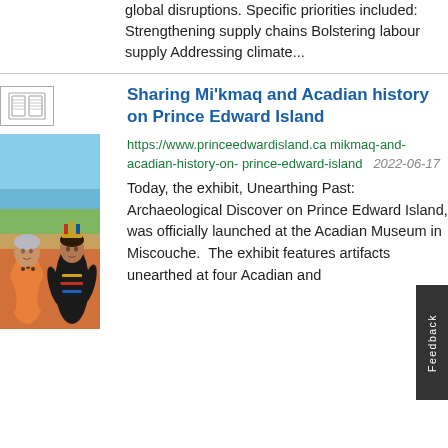global disruptions. Specific priorities included: Strengthening supply chains Bolstering labour supply Addressing climate...
[Figure (photo): Two women standing together in front of a painted backdrop showing water and landscape. Left woman wears orange top with beaded necklace. Right woman wears traditional Mi'kmaq regalia including headdress and decorated black outfit.]
Sharing Mi'kmaq and Acadian history on Prince Edward Island
https://www.princeedwardisland.ca mikmaq-and-acadian-history-on-prince-edward-island    2022-0[6?]-17
Today, the exhibit, Unearthing Past: Archaeological Discover on Prince Edward Island, was officially launched at the Acadian Museum in Miscouche.  The exhibit features artifacts unearthed at four Acadian and